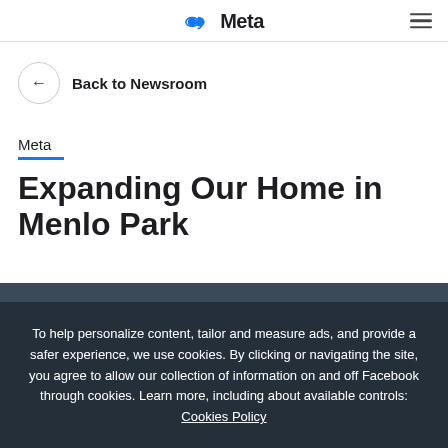Meta
Back to Newsroom
Meta
Expanding Our Home in Menlo Park
[Figure (photo): Dark background photo of a building or campus, partially visible behind cookie consent banner]
To help personalize content, tailor and measure ads, and provide a safer experience, we use cookies. By clicking or navigating the site, you agree to allow our collection of information on and off Facebook through cookies. Learn more, including about available controls: Cookies Policy